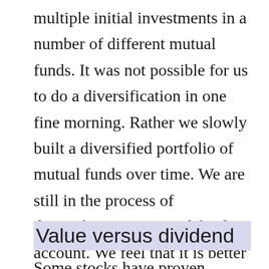multiple initial investments in a number of different mutual funds. It was not possible for us to do a diversification in one fine morning. Rather we slowly built a diversified portfolio of mutual funds over time. We are still in the process of diversifying our mutual fund account. We feel that it is better not to make any sudden investment with a desire to obtain a quick return.
Value versus dividend
Some stocks have proven themselves as